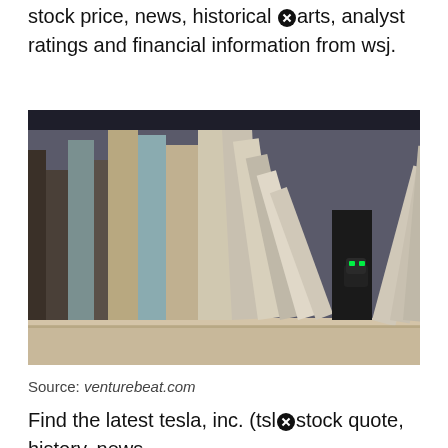stock price, news, historical charts, analyst ratings and financial information from wsj.
[Figure (photo): Photograph of books standing on a shelf with a small robot with green eyes (Vector robot by Anki) partially hidden between the books. Dark moody lighting on a wooden shelf.]
Source: venturebeat.com
Find the latest tesla, inc. (tsl stock quote, history, news